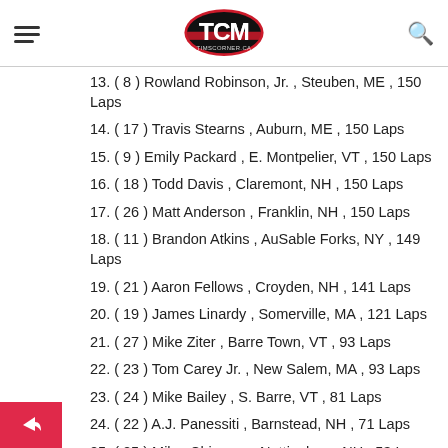TCM TIMSCORNER.CA
13. ( 8 ) Rowland Robinson, Jr. , Steuben, ME , 150 Laps
14. ( 17 ) Travis Stearns , Auburn, ME , 150 Laps
15. ( 9 ) Emily Packard , E. Montpelier, VT , 150 Laps
16. ( 18 ) Todd Davis , Claremont, NH , 150 Laps
17. ( 26 ) Matt Anderson , Franklin, NH , 150 Laps
18. ( 11 ) Brandon Atkins , AuSable Forks, NY , 149 Laps
19. ( 21 ) Aaron Fellows , Croyden, NH , 141 Laps
20. ( 19 ) James Linardy , Somerville, MA , 121 Laps
21. ( 27 ) Mike Ziter , Barre Town, VT , 93 Laps
22. ( 23 ) Tom Carey Jr. , New Salem, MA , 93 Laps
23. ( 24 ) Mike Bailey , S. Barre, VT , 81 Laps
24. ( 22 ) A.J. Panessiti , Barnstead, NH , 71 Laps
25. ( 25 ) Miles Chipman , Nottingham, NH , 53 Laps
26. ( 15 ) Jimmy Hebert , Williamstown, VT , 42 Laps
27. ( 13 ) Dave Farrington, Jr. , Jay, ME , 28 Laps